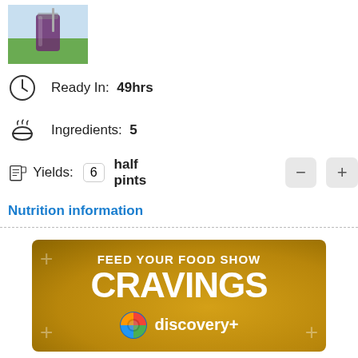[Figure (photo): Small thumbnail photo of a drink in a glass with a straw, outdoors background]
Ready In: 49hrs
Ingredients: 5
Yields: 6 half pints
Nutrition information
[Figure (advertisement): Discovery+ advertisement banner with gold background. Text: FEED YOUR FOOD SHOW CRAVINGS. Discovery+ logo at bottom.]